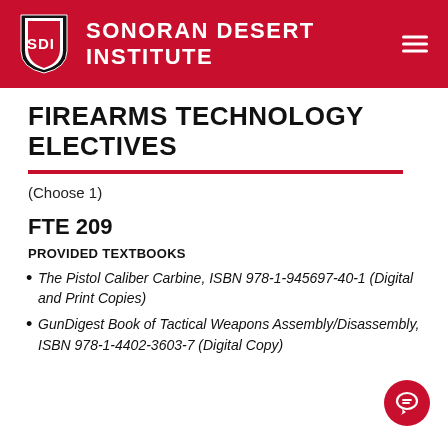SONORAN DESERT INSTITUTE
FIREARMS TECHNOLOGY ELECTIVES
(Choose 1)
FTE 209
PROVIDED TEXTBOOKS
The Pistol Caliber Carbine, ISBN 978-1-945697-40-1 (Digital and Print Copies)
GunDigest Book of Tactical Weapons Assembly/Disassembly, ISBN 978-1-4402-3603-7 (Digital Copy)